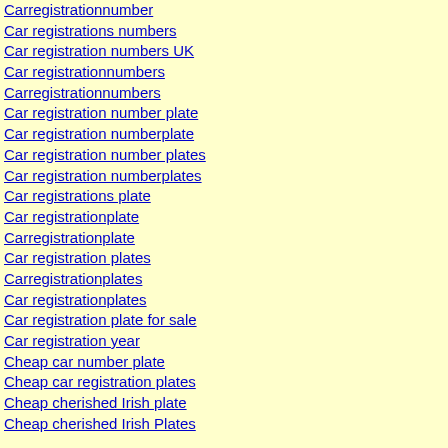Carregistrationnumber
Car registrations numbers
Car registration numbers UK
Car registrationnumbers
Carregistrationnumbers
Car registration number plate
Car registration numberplate
Car registration number plates
Car registration numberplates
Car registrations plate
Car registrationplate
Carregistrationplate
Car registration plates
Carregistrationplates
Car registrationplates
Car registration plate for sale
Car registration year
Cheap car number plate
Cheap car registration plates
Cheap cherished Irish plate
Cheap cherished Irish Plates